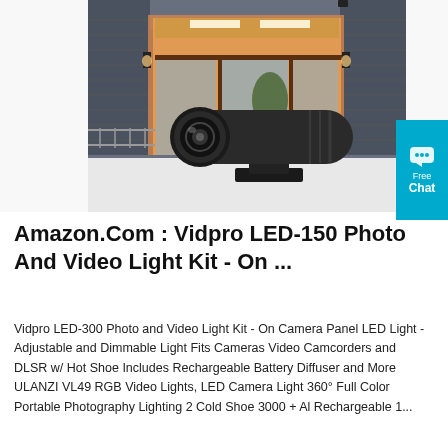[Figure (photo): Product photo composite: background shows a modern house entrance with warm interior lighting and outdoor wall sconces; foreground shows a black cylindrical LED light fixture/spotlight with lens, mounted on a square base bracket]
Amazon.Com : Vidpro LED-150 Photo And Video Light Kit - On ...
Vidpro LED-300 Photo and Video Light Kit - On Camera Panel LED Light - Adjustable and Dimmable Light Fits Cameras Video Camcorders and DLSR w/ Hot Shoe Includes Rechargeable Battery Diffuser and More ULANZI VL49 RGB Video Lights, LED Camera Light 360° Full Color Portable Photography Lighting 2 Cold Shoe 3000 + Al Rechargeable 1...